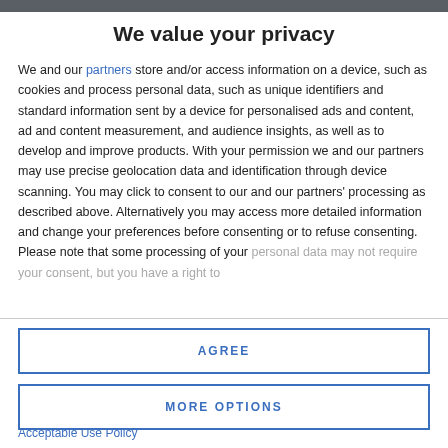We value your privacy
We and our partners store and/or access information on a device, such as cookies and process personal data, such as unique identifiers and standard information sent by a device for personalised ads and content, ad and content measurement, and audience insights, as well as to develop and improve products. With your permission we and our partners may use precise geolocation data and identification through device scanning. You may click to consent to our and our partners' processing as described above. Alternatively you may access more detailed information and change your preferences before consenting or to refuse consenting. Please note that some processing of your personal data may not require your consent, but you have a right to
AGREE
MORE OPTIONS
Acceptable Use Policy